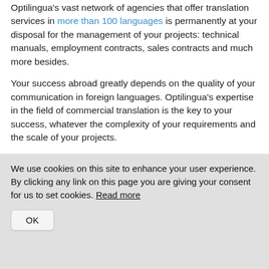Optilingua's vast network of agencies that offer translation services in more than 100 languages is permanently at your disposal for the management of your projects: technical manuals, employment contracts, sales contracts and much more besides.
Your success abroad greatly depends on the quality of your communication in foreign languages. Optilingua's expertise in the field of commercial translation is the key to your success, whatever the complexity of your requirements and the scale of your projects.
Our fields of specialisation: technical, legal, medical, paramedical, pharmaceutical, marketing, advertising,
We use cookies on this site to enhance your user experience. By clicking any link on this page you are giving your consent for us to set cookies. Read more
OK